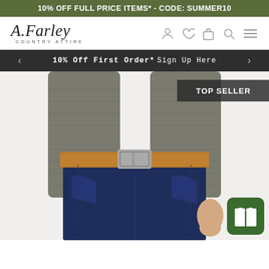10% OFF FULL PRICE ITEMS* - CODE: SUMMER10
[Figure (logo): A. Farley Country Attire logo in script font with navigation icons (user, heart, bag, search, menu)]
10% Off First Order* Sign Up Here
[Figure (photo): Man wearing dark navy jeans with a tan leather belt and grey long-sleeve top. TOP SELLER badge visible in top right corner. Green gift button in bottom right.]